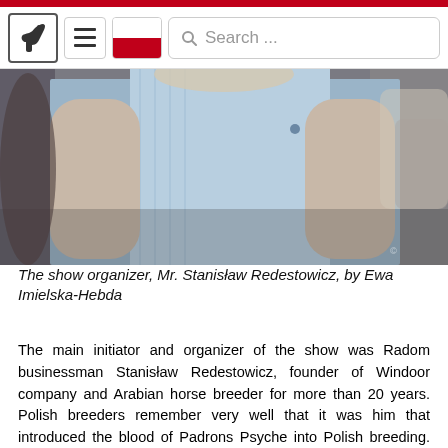[Figure (screenshot): Website navigation bar with horse logo, hamburger menu, Polish flag icon, and search box, with red top bar]
[Figure (photo): A man in a light blue shirt photographed from behind/side angle in an indoor setting with blurred people in background]
The show organizer, Mr. Stanisław Redestowicz, by Ewa Imielska-Hebda
The main initiator and organizer of the show was Radom businessman Stanisław Redestowicz, founder of Windoor company and Arabian horse breeder for more than 20 years. Polish breeders remember very well that it was him that introduced the blood of Padrons Psyche into Polish breeding. The bred by him son of Padrons Psyche, born in 2003 Etnodrons Psyche (out of Etnografia by Aloes) sired many daughters which today are broodmares in their